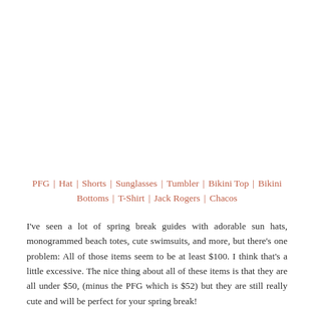PFG | Hat | Shorts | Sunglasses | Tumbler | Bikini Top | Bikini Bottoms | T-Shirt | Jack Rogers | Chacos
I've seen a lot of spring break guides with adorable sun hats, monogrammed beach totes, cute swimsuits, and more, but there's one problem: All of those items seem to be at least $100. I think that's a little excessive. The nice thing about all of these items is that they are all under $50, (minus the PFG which is $52) but they are still really cute and will be perfect for your spring break!